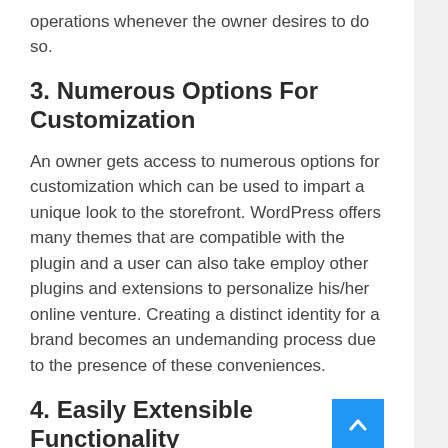operations whenever the owner desires to do so.
3. Numerous Options For Customization
An owner gets access to numerous options for customization which can be used to impart a unique look to the storefront. WordPress offers many themes that are compatible with the plugin and a user can also take employ other plugins and extensions to personalize his/her online venture. Creating a distinct identity for a brand becomes an undemanding process due to the presence of these conveniences.
4. Easily Extensible Functionality
Enterprises need a dynamic platform that enables the effortless addition of new features